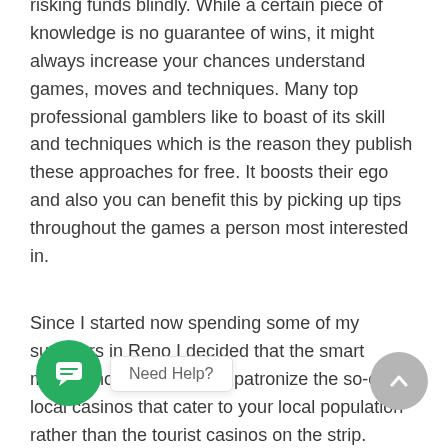risking funds blindly. While a certain piece of knowledge is no guarantee of wins, it might always increase your chances understand games, moves and techniques. Many top professional gamblers like to boast of its skill and techniques which is the reason they publish these approaches for free. It boosts their ego and also you can benefit this by picking up tips throughout the games a person most interested in.
Since I started now spending some of my summers in Reno I decided that the smart money move would have patronize the so-called local casinos that cater to your local population rather than the tourist casinos on the strip. Concept here being that the shrewd